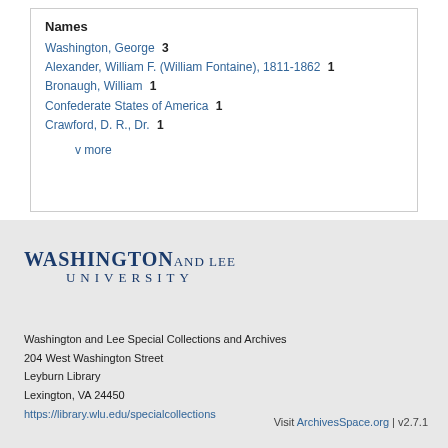Names
Washington, George  3
Alexander, William F. (William Fontaine), 1811-1862  1
Bronaugh, William  1
Confederate States of America  1
Crawford, D. R., Dr.  1
v more
[Figure (logo): Washington and Lee University logo with text 'WASHINGTON AND LEE UNIVERSITY']
Washington and Lee Special Collections and Archives
204 West Washington Street
Leyburn Library
Lexington, VA 24450
https://library.wlu.edu/specialcollections
Visit ArchivesSpace.org | v2.7.1